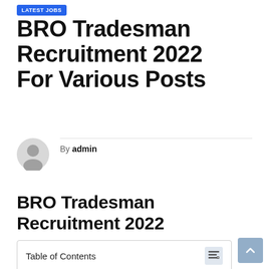LATEST JOBS
BRO Tradesman Recruitment 2022 For Various Posts
By admin
BRO Tradesman Recruitment 2022
Table of Contents